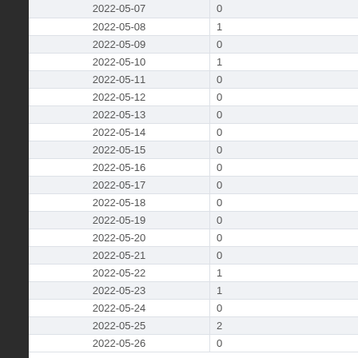| 2022-05-07 | 0 |  |
| 2022-05-08 | 1 |  |
| 2022-05-09 | 0 |  |
| 2022-05-10 | 1 |  |
| 2022-05-11 | 0 |  |
| 2022-05-12 | 0 |  |
| 2022-05-13 | 0 |  |
| 2022-05-14 | 0 |  |
| 2022-05-15 | 0 |  |
| 2022-05-16 | 0 |  |
| 2022-05-17 | 0 |  |
| 2022-05-18 | 0 |  |
| 2022-05-19 | 0 |  |
| 2022-05-20 | 0 |  |
| 2022-05-21 | 0 |  |
| 2022-05-22 | 1 |  |
| 2022-05-23 | 1 |  |
| 2022-05-24 | 0 |  |
| 2022-05-25 | 2 |  |
| 2022-05-26 | 0 |  |